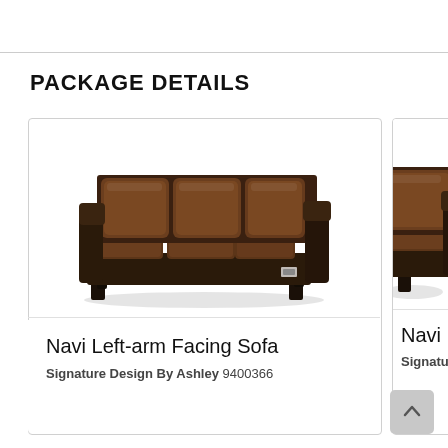PACKAGE DETAILS
[Figure (photo): Brown leather three-seat Navi Left-arm Facing Sofa with dark legs and USB port, shown at an angle on white background]
Navi Left-arm Facing Sofa
Signature Design By Ashley 9400366
[Figure (photo): Partial view of Navi Right-arm sofa, partially cropped on right edge of page]
Navi R
Signature